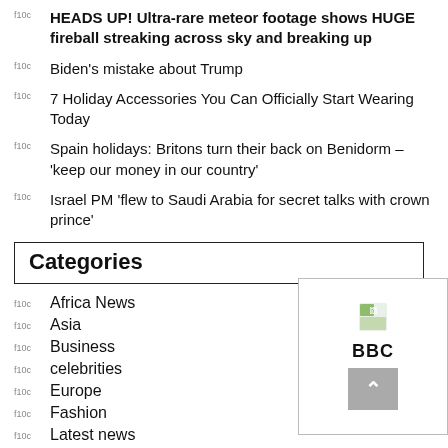f10c  HEADS UP! Ultra-rare meteor footage shows HUGE fireball streaking across sky and breaking up
f10c  Biden's mistake about Trump
f10c  7 Holiday Accessories You Can Officially Start Wearing Today
f10c  Spain holidays: Britons turn their back on Benidorm – 'keep our money in our country'
f10c  Israel PM 'flew to Saudi Arabia for secret talks with crown prince'
Categories
f10c  Africa News
f10c  Asia
f10c  Business
f10c  celebrities
f10c  Europe
f10c  Fashion
f10c  Latest news
f10c  Middle East
[Figure (screenshot): BBC logo with broken image icon and back-to-top arrow button on grey background]